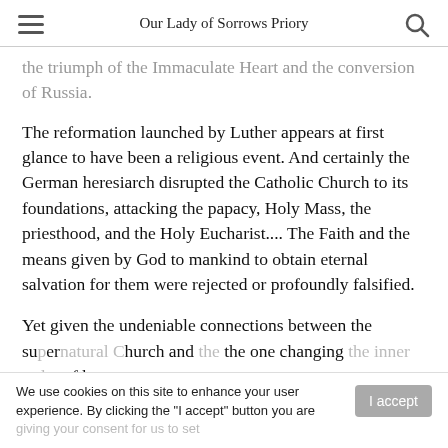Our Lady of Sorrows Priory
the triumph of the Immaculate Heart and the conversion of Russia.
The reformation launched by Luther appears at first glance to have been a religious event. And certainly the German heresiarch disrupted the Catholic Church to its foundations, attacking the papacy, Holy Mass, the priesthood, and the Holy Eucharist.... The Faith and the means given by God to mankind to obtain eternal salvation for them were rejected or profoundly falsified.
Yet given the undeniable connections between the supernatural Church and the one changing the inner order of human
We use cookies on this site to enhance your user experience. By clicking the "I accept" button you are giving your consent for us to set